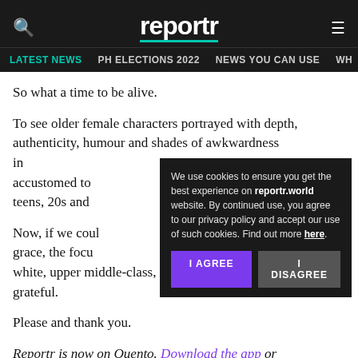reportr — LATEST NEWS | PH ELECTIONS 2022 | NEWS YOU CAN USE | WH...
So what a time to be alive.
To see older female characters portrayed with depth, authenticity, humour and shades of awkwardness in... accustomed to... teens, 20s and...
Now, if we could... grace, the focus... white, upper middle-class, heterosexual range, I would be grateful.
Please and thank you.
Reportr is now on Quento. Download the app or
[Figure (other): Cookie consent overlay with 'I AGREE' (purple) and 'I DISAGREE' (grey) buttons. Text: We use cookies to ensure you get the best experience on reportr.world website. By continued use, you agree to our privacy policy and accept our use of such cookies. Find out more here.]